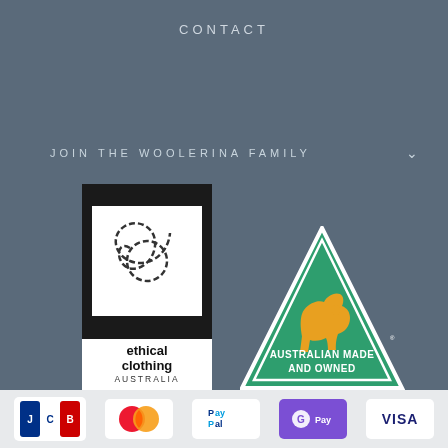CONTACT
JOIN THE WOOLERINA FAMILY
[Figure (logo): Ethical Clothing Australia logo — black rectangle with a dashed swirl figure inside white square, text below reads 'ethical clothing AUSTRALIA']
[Figure (logo): Australian Made and Owned logo — green triangle with orange kangaroo silhouette, text reads 'AUSTRALIAN MADE AND OWNED']
[Figure (logo): Payment method logos row: JCB, Mastercard, PayPal, Google Pay, Visa]